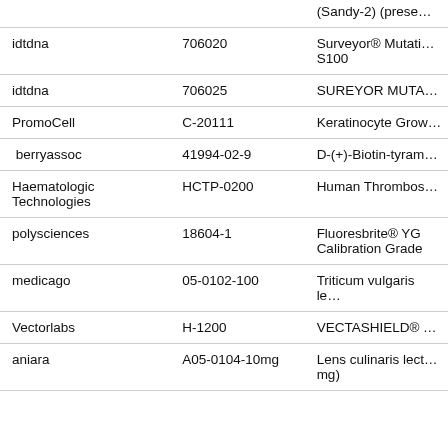| Vendor | Catalog # | Product Name |
| --- | --- | --- |
|  |  | (Sandy-2) (prese… |
| idtdna | 706020 | Surveyor® Mutati… S100 |
| idtdna | 706025 | SUREYOR MUTA… |
| PromoCell | C-20111 | Keratinocyte Grow… |
| berryassoc | 41994-02-9 | D-(+)-Biotin-tyram… |
| Haematologic Technologies | HCTP-0200 | Human Thrombos… |
| polysciences | 18604-1 | Fluoresbrite® YG Calibration Grade |
| medicago | 05-0102-100 | Triticum vulgaris le… |
| Vectorlabs | H-1200 | VECTASHIELD® … |
| aniara | A05-0104-10mg | Lens culinaris lect… mg) |